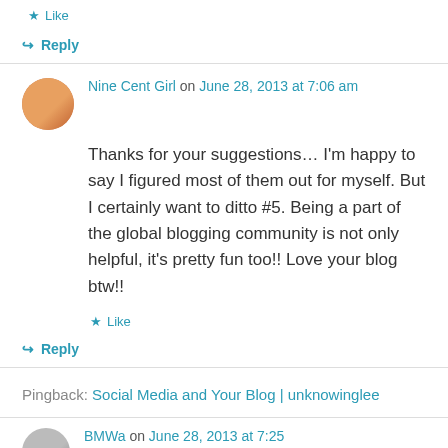★ Like
↪ Reply
Nine Cent Girl on June 28, 2013 at 7:06 am
Thanks for your suggestions… I'm happy to say I figured most of them out for myself. But I certainly want to ditto #5. Being a part of the global blogging community is not only helpful, it's pretty fun too!! Love your blog btw!!
★ Like
↪ Reply
Pingback: Social Media and Your Blog | unknowinglee
BMWa on June 28, 2013 at 7:25